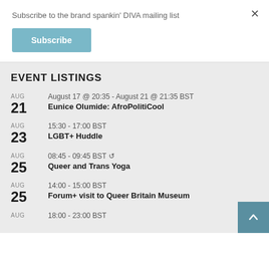Subscribe to the brand spankin' DIVA mailing list
Subscribe
EVENT LISTINGS
AUG 21 | August 17 @ 20:35 - August 21 @ 21:35 BST | Eunice Olumide: AfroPolitiCool
AUG 23 | 15:30 - 17:00 BST | LGBT+ Huddle
AUG 25 | 08:45 - 09:45 BST | Queer and Trans Yoga
AUG 25 | 14:00 - 15:00 BST | Forum+ visit to Queer Britain Museum
AUG | 18:00 - 23:00 BST